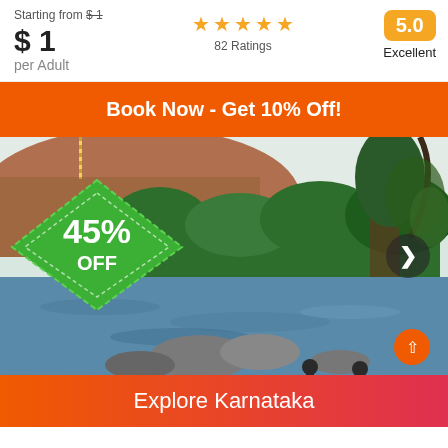Starting from $1 (strikethrough) 
$1
per Adult
82 Ratings
5.0
Excellent
Book Now - Get 10% Off!
[Figure (photo): River scene with lush green trees and rocky banks in Karnataka, India. A green diamond-shaped discount badge showing 45% OFF is overlaid on the left side. A navigation arrow button is on the right.]
45% OFF
Explore Karnataka